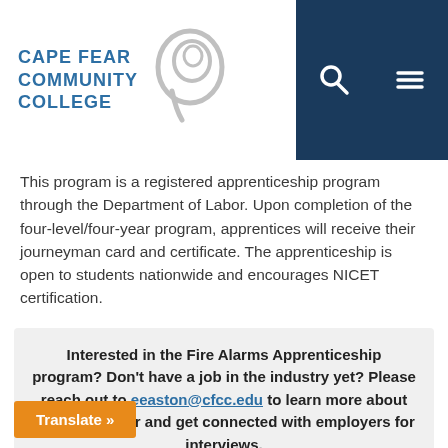[Figure (logo): Cape Fear Community College logo with text and circular icon]
This program is a registered apprenticeship program through the Department of Labor. Upon completion of the four-level/four-year program, apprentices will receive their journeyman card and certificate. The apprenticeship is open to students nationwide and encourages NICET certification.
Interested in the Fire Alarms Apprenticeship program? Don't have a job in the industry yet? Please reach out to eeaston@cfcc.edu to learn more about how to register and get connected with employers for interviews.
Translate »